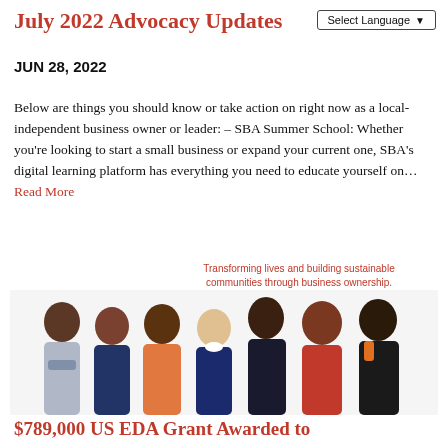Select Language
July 2022 Advocacy Updates
JUN 28, 2022
Below are things you should know or take action on right now as a local-independent business owner or leader: – SBA Summer School: Whether you're looking to start a small business or expand your current one, SBA's digital learning platform has everything you need to educate yourself on… Read More
[Figure (photo): Group photo of seven diverse business owners/entrepreneurs smiling, with tagline 'Transforming lives and building sustainable communities through business ownership.']
$789,000 US EDA Grant Awarded to